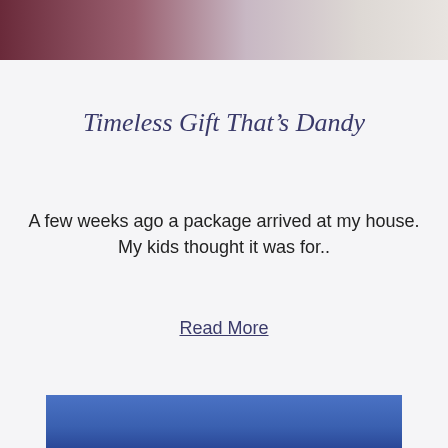[Figure (photo): Top portion of a photo showing fabric or textile items in dark red/maroon and light grey/white tones]
Timeless Gift That’s Dandy
A few weeks ago a package arrived at my house. My kids thought it was for..
Read More
[Figure (photo): Top portion of a photo showing a blue sky background]